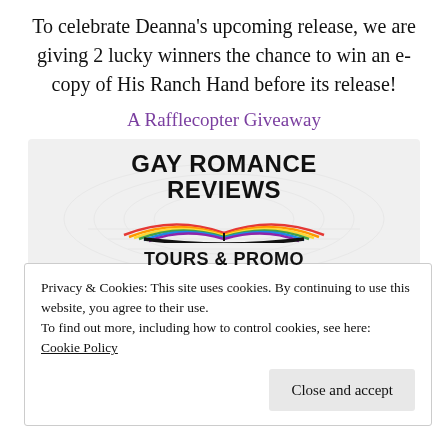To celebrate Deanna's upcoming release, we are giving 2 lucky winners the chance to win an e-copy of His Ranch Hand before its release!
A Rafflecopter Giveaway
[Figure (logo): Gay Romance Reviews Tours & Promo logo — open book with rainbow-colored pages, bold black text above and below]
Privacy & Cookies: This site uses cookies. By continuing to use this website, you agree to their use.
To find out more, including how to control cookies, see here:
Cookie Policy
Close and accept